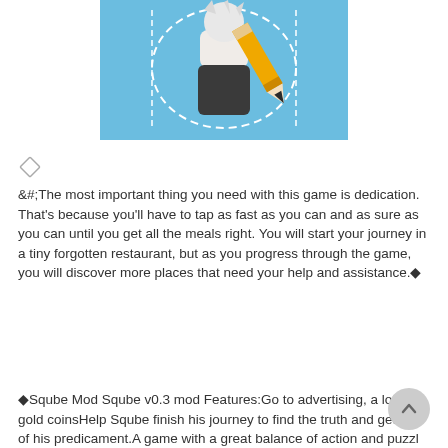[Figure (illustration): Cartoon illustration of a character (anime-style girl with white/silver hair) wearing dark pants and a light top, holding a large pencil, on a light blue background with dashed lines forming an hourglass/figure shape around the character.]
[Figure (other): Small diamond/square rotated 45 degrees icon in light gray color]
&#;The most important thing you need with this game is dedication. That's because you'll have to tap as fast as you can and as sure as you can until you get all the meals right. You will start your journey in a tiny forgotten restaurant, but as you progress through the game, you will discover more places that need your help and assistance.◆
◆Sqube Mod Sqube v0.3 mod Features:Go to advertising, a lot of gold coinsHelp Sqube finish his journey to find the truth and get out of his predicament.A game with a great balance of action and puzzl